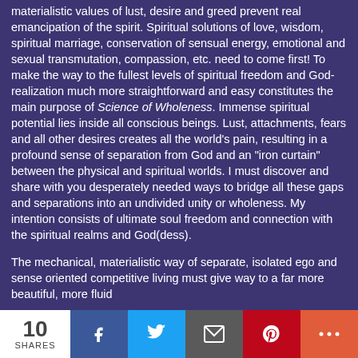materialistic values of lust, desire and greed prevent real emancipation of the spirit. Spiritual solutions of love, wisdom, spiritual marriage, conservation of sensual energy, emotional and sexual transmutation, compassion, etc. need to come first! To make the way to the fullest levels of spiritual freedom and God-realization much more straightforward and easy constitutes the main purpose of Science of Wholeness. Immense spiritual potential lies inside all conscious beings. Lust, attachments, fears and all other desires creates all the world's pain, resulting in a profound sense of separation from God and an "iron curtain" between the physical and spiritual worlds. I must discover and share with you desperately needed ways to bridge all these gaps and separations into an undivided unity or wholeness. My intention consists of ultimate soul freedom and connection with the spiritual realms and God(dess).
The mechanical, materialistic way of separate, isolated ego and sense oriented competitive living must give way to a far more beautiful, more fluid...
10 SHARES | Facebook | Twitter | Email | Pinterest | More